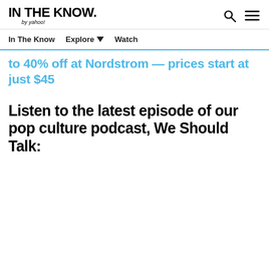IN THE KNOW. by yahoo!
In The Know   Explore ▾   Watch
to 40% off at Nordstrom — prices start at just $45
Listen to the latest episode of our pop culture podcast, We Should Talk: